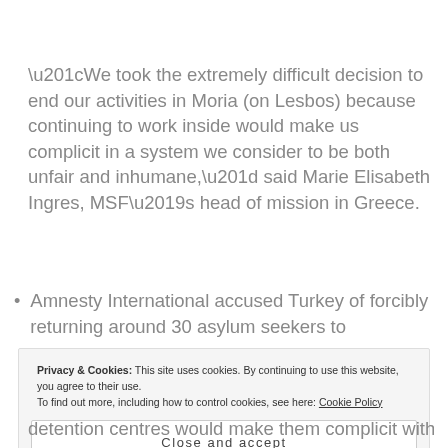“We took the extremely difficult decision to end our activities in Moria (on Lesbos) because continuing to work inside would make us complicit in a system we consider to be both unfair and inhumane,” said Marie Elisabeth Ingres, MSF’s head of mission in Greece.
Amnesty International accused Turkey of forcibly returning around 30 asylum seekers to
Privacy & Cookies: This site uses cookies. By continuing to use this website, you agree to their use.
To find out more, including how to control cookies, see here: Cookie Policy
Close and accept
detention centres would make them complicit with